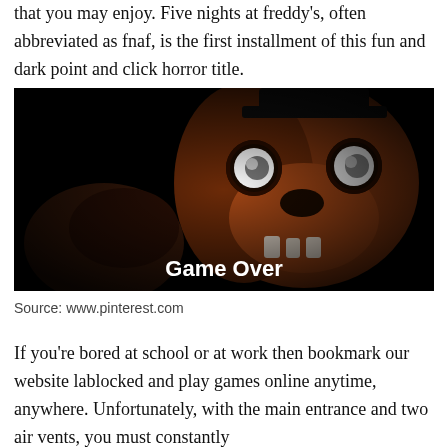that you may enjoy. Five nights at freddy's, often abbreviated as fnaf, is the first installment of this fun and dark point and click horror title.
[Figure (photo): Dark screenshot from Five Nights at Freddy's game showing an animatronic bear face (Freddy Fazbear) emerging from darkness with glowing eyes, and the text 'Game Over' displayed in white at the bottom center.]
Source: www.pinterest.com
If you're bored at school or at work then bookmark our website lablocked and play games online anytime, anywhere. Unfortunately, with the main entrance and two air vents, you must constantly